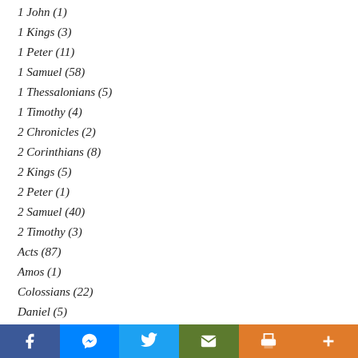1 John (1)
1 Kings (3)
1 Peter (11)
1 Samuel (58)
1 Thessalonians (5)
1 Timothy (4)
2 Chronicles (2)
2 Corinthians (8)
2 Kings (5)
2 Peter (1)
2 Samuel (40)
2 Timothy (3)
Acts (87)
Amos (1)
Colossians (22)
Daniel (5)